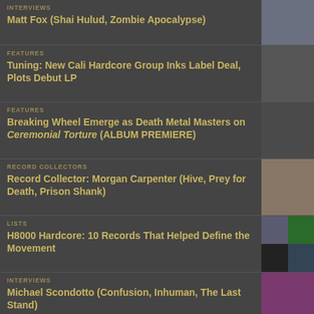INTERVIEWS
Matt Fox (Shai Hulud, Zombie Apocalypse)
FEATURES
Tuning: New Cali Hardcore Group Inks Label Deal, Plots Debut LP
FEATURES
Breaking Wheel Emerge as Death Metal Masters on Ceremonial Torture (ALBUM PREMIERE)
RECORD COLLECTORS
Record Collector: Morgan Carpenter (Hive, Prey for Death, Prison Shank)
LISTS
H8000 Hardcore: 10 Records That Helped Define the Movement
INTERVIEWS
Michael Scondotto (Confusion, Inhuman, The Last Stand)
FEATURES
Mutants of the Monster Fest Organizer Chris "CT" Terry Busts